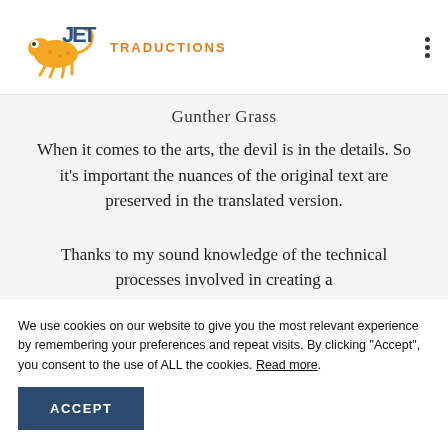JET Traductions
Gunther Grass
When it comes to the arts, the devil is in the details. So it’s important the nuances of the original text are preserved in the translated version.
Thanks to my sound knowledge of the technical processes involved in creating a
We use cookies on our website to give you the most relevant experience by remembering your preferences and repeat visits. By clicking “Accept”, you consent to the use of ALL the cookies. Read more.